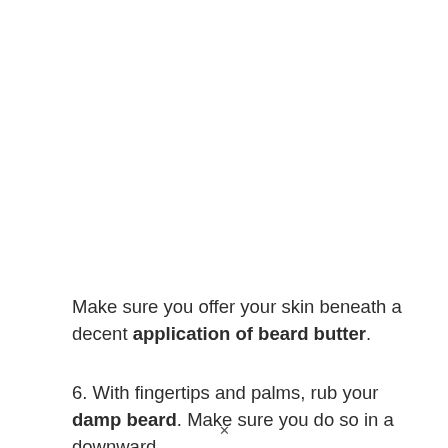Make sure you offer your skin beneath a decent application of beard butter.
6. With fingertips and palms, rub your damp beard. Make sure you do so in a downward